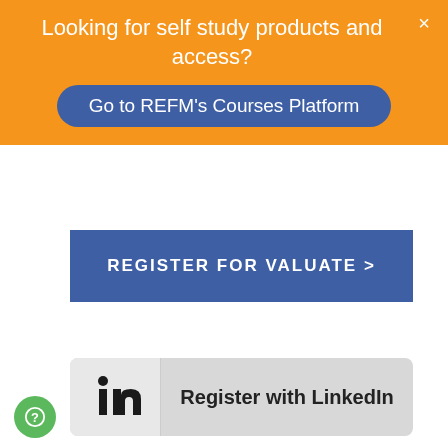Looking for self study products and access?
Go to REFM's Courses Platform
REGISTER FOR VALUATE >
[Figure (logo): LinkedIn 'in' logo icon]
Register with LinkedIn
LOGIN TO VALUATE NOW